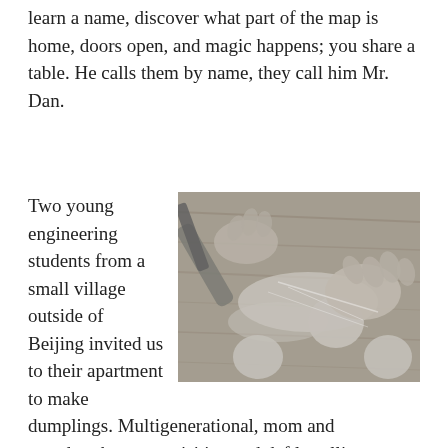learn a name, discover what part of the map is home, doors open, and magic happens; you share a table. He calls them by name, they call him Mr. Dan.
Two young engineering students from a small village outside of Beijing invited us to their apartment to make dumplings. Multi-generational, mom and grandmother were visiting and deftly rolling out dumplings with the speed of a twelve-person assembly line. Every dumpling is the exact shape and size. Once all the dough was ready, it was time to fill.  Their dumplings were perfect, beautifully shaped, properly proportioned. Ours, overstuffed and unable to close. With direction, "the dumpling is the
[Figure (photo): Black and white photo of hands rolling dumplings on a floured wooden surface with a rolling pin visible]